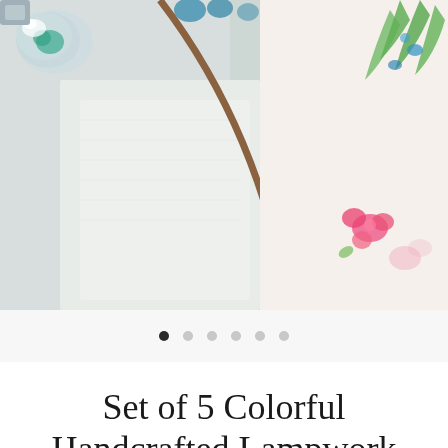[Figure (photo): Close-up photo of handcrafted lampwork glass beads and embroidered fabric. A colorful glass bead with teal/blue and white detailing is visible on the left, alongside white textured fabric. A brown curved band divides the image. On the right side, an embroidered piece with pink flower and green leaf motifs on white fabric is visible. Top right shows green fern-like embroidery with blue accents.]
[Figure (other): Image carousel pagination dots — 6 dots total, first dot filled/active (dark), remaining 5 dots unfilled/inactive (light gray)]
Set of 5 Colorful Handcrafted Lampwork Glass Beads with Bright